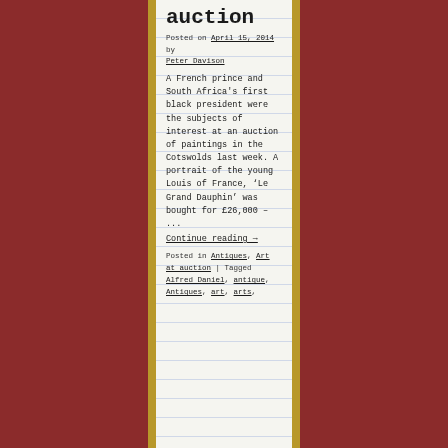auction
Posted on April 15, 2014 by Peter Davison
A French prince and South Africa's first black president were the subjects of interest at an auction of paintings in the Cotswolds last week. A portrait of the young Louis of France, ‘Le Grand Dauphin’ was bought for £26,000 – ...
Continue reading →
Posted in Antiques, Art at auction | Tagged Alfred Daniel, antique, Antiques, art, arts,